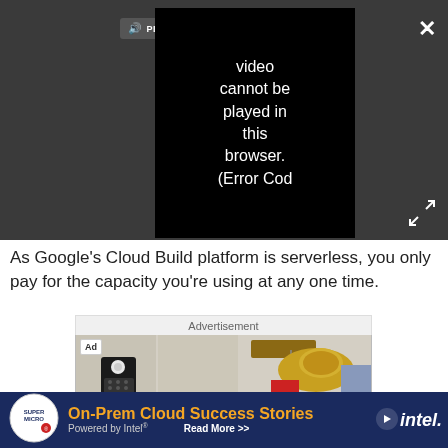[Figure (screenshot): Video player overlay showing a dark background with a black video box displaying error message 'Video cannot be played in this browser. (Error Cod' and a PLAY SOUND button at top, close X button top right, expand arrows bottom right.]
As Google's Cloud Build platform is serverless, you only pay for the capacity you're using at any one time.
Advertisement
[Figure (photo): Advertisement photo showing a home security keypad mounted on a cream-colored wall/cabinet next to a wooden coat rack with a straw hat, keys, red garment, and blue shirt hanging on hooks. 'Ad' badge in top left corner.]
[Figure (infographic): Bottom banner advertisement for Supermicro 'On-Prem Cloud Success Stories Powered by Intel - Read More >>' with Supermicro logo on left and Intel logo on right, dark blue background with orange and white text.]